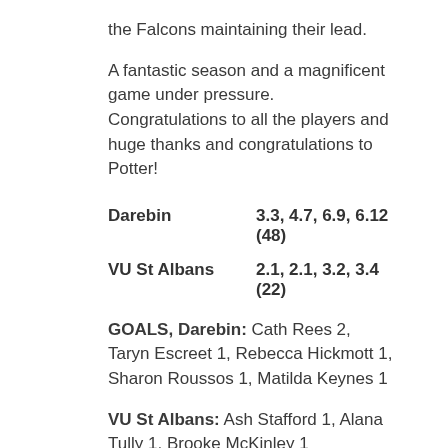the Falcons maintaining their lead.
A fantastic season and a magnificent game under pressure. Congratulations to all the players and huge thanks and congratulations to Potter!
Darebin    3.3, 4.7, 6.9, 6.12 (48)
VU St Albans    2.1, 2.1, 3.2, 3.4 (22)
GOALS, Darebin: Cath Rees 2, Taryn Escreet 1, Rebecca Hickmott 1, Sharon Roussos 1, Matilda Keynes 1
VU St Albans: Ash Stafford 1, Alana Tully 1, Brooke McKinley 1